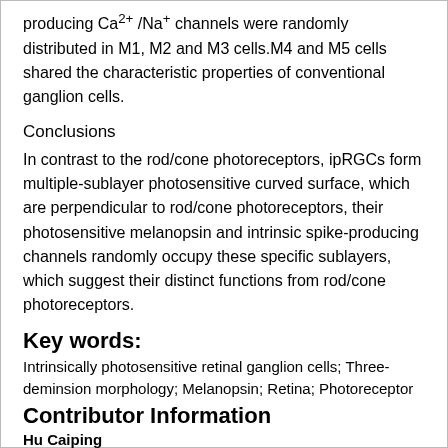producing Ca2+/Na+ channels were randomly distributed in M1, M2 and M3 cells.M4 and M5 cells shared the characteristic properties of conventional ganglion cells.
Conclusions
In contrast to the rod/cone photoreceptors, ipRGCs form multiple-sublayer photosensitive curved surface, which are perpendicular to rod/cone photoreceptors, their photosensitive melanopsin and intrinsic spike-producing channels randomly occupy these specific sublayers, which suggest their distinct functions from rod/cone photoreceptors.
Key words:
Intrinsically photosensitive retinal ganglion cells; Three-deminsion morphology; Melanopsin; Retina; Photoreceptor
Contributor Information
Hu Caiping
Hubei University of Science and Technology; Xianning Aier